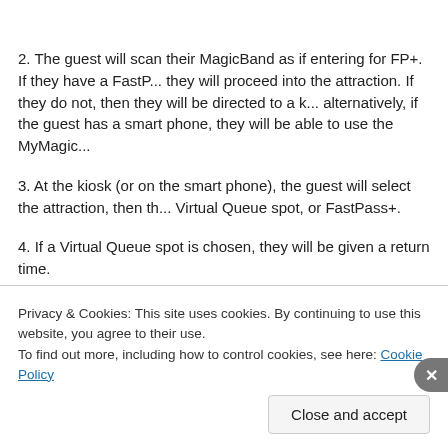2. The guest will scan their MagicBand as if entering for FP+. If they have a FastPass they will proceed into the attraction. If they do not, then they will be directed to a kiosk; alternatively, if the guest has a smart phone, they will be able to use the MyMagic+ app.
3. At the kiosk (or on the smart phone), the guest will select the attraction, then the Virtual Queue spot, or FastPass+.
4. If a Virtual Queue spot is chosen, they will be given a return time.
5. If FastPass+ is chosen, and the guest has not used all of their FP+ options, they will be with the choice of several times to pick from for a return.
The guest can then go about their business in the park, until such time as their visit comes around.
Optionally, the guest can be notified 15 min before their line entry time, and then
Privacy & Cookies: This site uses cookies. By continuing to use this website, you agree to their use.
To find out more, including how to control cookies, see here: Cookie Policy
Close and accept